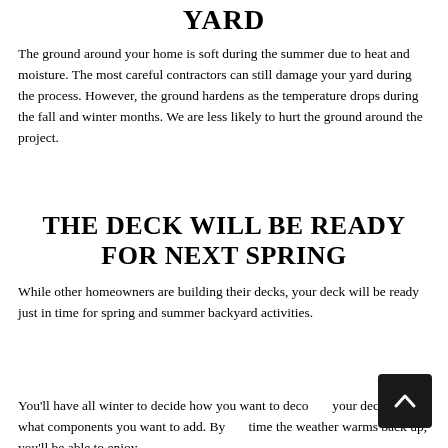YARD
The ground around your home is soft during the summer due to heat and moisture. The most careful contractors can still damage your yard during the process. However, the ground hardens as the temperature drops during the fall and winter months. We are less likely to hurt the ground around the project.
THE DECK WILL BE READY FOR NEXT SPRING
While other homeowners are building their decks, your deck will be ready just in time for spring and summer backyard activities.
You'll have all winter to decide how you want to decorate your deck and what components you want to add. By the time the weather warms back up, you'll be able to enjoy